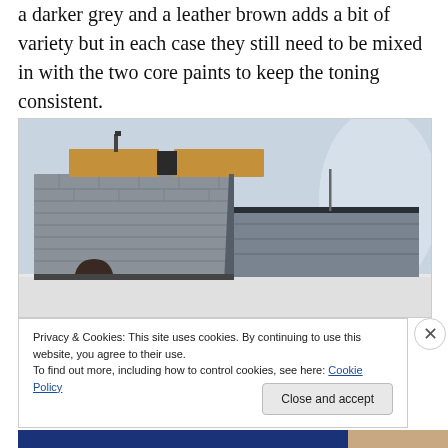a darker grey and a leather brown adds a bit of variety but in each case they still need to be mixed in with the two core paints to keep the toning consistent.
[Figure (photo): Photo of a painted model railway building/tunnel scene showing a stone-effect structure with arch doorway and brown roof sections, grey stone walls, photographed against a light blue-white background.]
Privacy & Cookies: This site uses cookies. By continuing to use this website, you agree to their use.
To find out more, including how to control cookies, see here: Cookie Policy
Close and accept